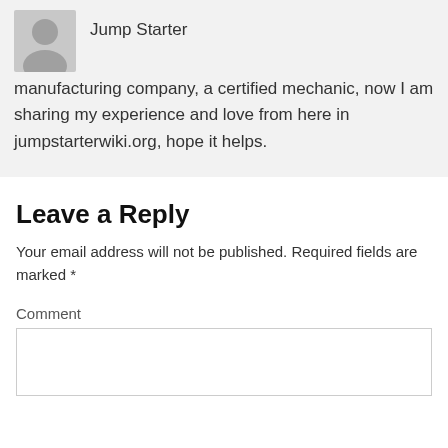[Figure (illustration): Gray avatar/profile silhouette icon]
Jump Starter
manufacturing company, a certified mechanic, now I am sharing my experience and love from here in jumpstarterwiki.org, hope it helps.
Leave a Reply
Your email address will not be published. Required fields are marked *
Comment